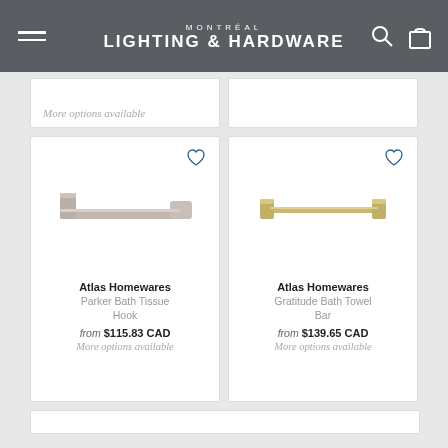MONTRÉAL LIGHTING & HARDWARE
More options available
[Figure (photo): Atlas Homewares Parker Bath Tissue Hook - brushed nickel finish, rectangular minimalist design]
Atlas Homewares
Parker Bath Tissue Hook
from $115.83 CAD
More options available
[Figure (photo): Atlas Homewares Gratitude Bath Towel Bar - gold/brass finish, rectangular bracket ends with long horizontal bar]
Atlas Homewares
Gratitude Bath Towel Bar
from $139.65 CAD
More options available